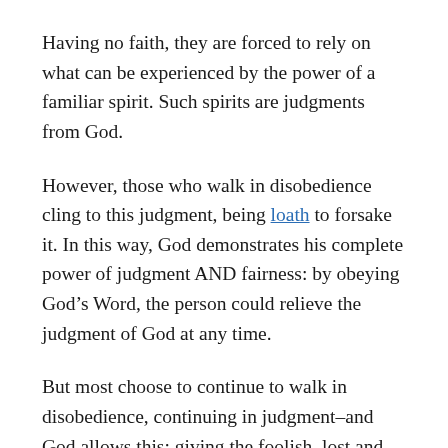Having no faith, they are forced to rely on what can be experienced by the power of a familiar spirit. Such spirits are judgments from God.
However, those who walk in disobedience cling to this judgment, being loath to forsake it. In this way, God demonstrates his complete power of judgment AND fairness: by obeying God’s Word, the person could relieve the judgment of God at any time.
But most choose to continue to walk in disobedience, continuing in judgment–and God allows this: giving the foolish, lost and wicked what they think they want.